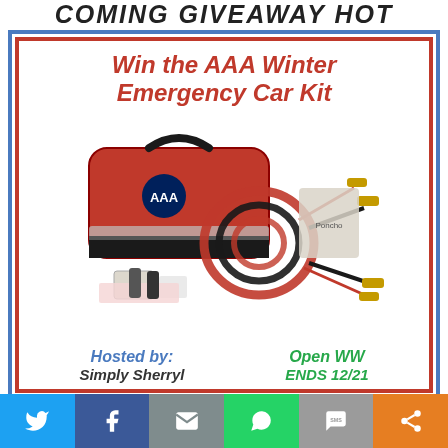COMING GIVEAWAY HOT
Win the AAA Winter Emergency Car Kit
[Figure (photo): AAA Winter Emergency Car Kit product photo showing a red bag with AAA logo, jumper cables, and various emergency supplies]
Hosted by: Simply Sherryl
Open WW ENDS 12/21
[Figure (infographic): Social share bar with Twitter, Facebook, Email, WhatsApp, SMS, and More buttons]